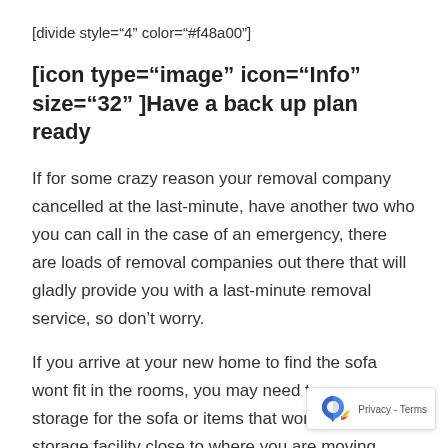[divide style="4" color="#f48a00"]
[icon type="image" icon="Info" size="32" ]Have a back up plan ready
If for some crazy reason your removal company cancelled at the last-minute, have another two who you can call in the case of an emergency, there are loads of removal companies out there that will gladly provide you with a last-minute removal service, so don't worry.
If you arrive at your new home to find the sofa wont fit in the rooms, you may need to arrange storage for the sofa or items that won't fit. Loc storage facility close to where you are moving.